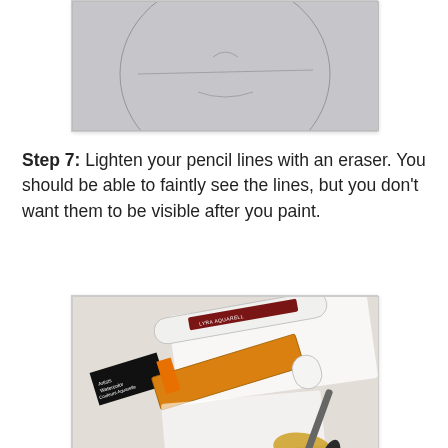[Figure (photo): A pencil sketch on gray paper showing a lightly drawn oval/circle face outline with faint facial feature guidelines — the lines are barely visible, illustrating lightened pencil work after erasing.]
Step 7: Lighten your pencil lines with an eraser. You should be able to faintly see the lines, but you don't want them to be visible after you paint.
[Figure (photo): A close-up photo of watercolor painting supplies on a white surface: a white eraser tube with a dark red label, an orange watercolor paint tube with a black label reading 'Artists Watercolor Couleurs Aquarelle', a white plastic palette, and a paintbrush with orange/yellow paint on its tip.]